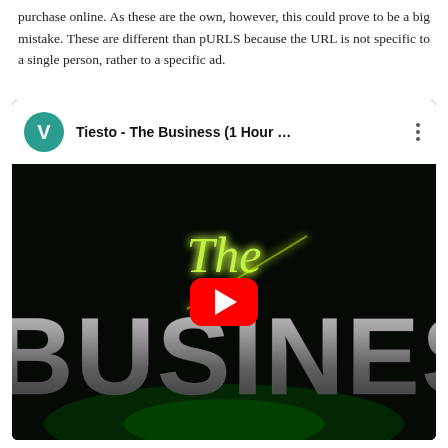purchase online. As these are the own, however, this could prove to be a big mistake. These are different than pURLS because the URL is not specific to a single person, rather to a specific ad.
[Figure (screenshot): YouTube video thumbnail for 'Tiesto - The Business (1 Hour ...' showing a dark background with stylized metallic 3D text reading 'THE BUSINESS' with neon green glowing accents and a YouTube play button in the center. The video header shows a teal avatar with 'V' and the video title.]